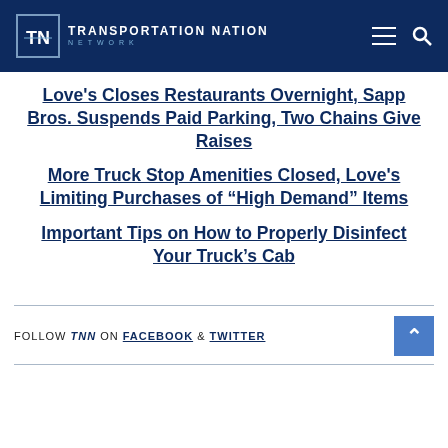Transportation Nation Network
Love's Closes Restaurants Overnight, Sapp Bros. Suspends Paid Parking, Two Chains Give Raises
More Truck Stop Amenities Closed, Love's Limiting Purchases of “High Demand” Items
Important Tips on How to Properly Disinfect Your Truck’s Cab
FOLLOW TNN ON FACEBOOK & TWITTER